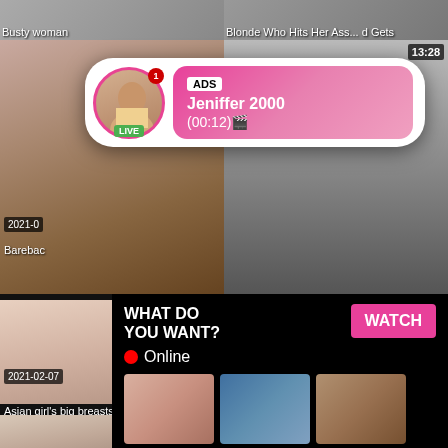Busty woman
Blonde Who Hits Her Ass... d Gets
[Figure (screenshot): Ad popup with avatar of woman, LIVE badge, notification dot, pink gradient box with ADS tag, name Jeniffer 2000, time (00:12)]
[Figure (screenshot): Video thumbnail mid left - woman performing oral sex]
[Figure (screenshot): Ad panel: WHAT DO YOU WANT? WATCH button, Online status, three preview thumbnails, text: Cumming, ass fucking, squirt or... ADS]
Barebac
13:28
[Figure (screenshot): Bottom left video thumbnail - Asian girl nude]
[Figure (screenshot): Bottom right video thumbnail - Chubby blonde]
2021-02-07
12:06
Asian girl’s big breasts make me unable
2021-02-26
6:13
Chubby Blonde Chick’s Fuckholes Filled
[Figure (screenshot): Very bottom left thumbnail]
[Figure (screenshot): Very bottom right thumbnail - purple/pink room]